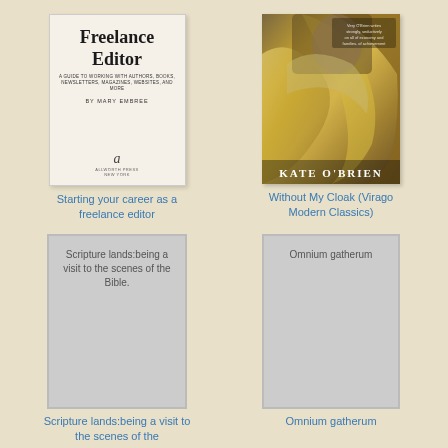[Figure (illustration): Book cover: Starting your career as a freelance editor by Mary Embree, white/cream cover with title text and publisher logo]
Starting your career as a freelance editor
[Figure (illustration): Book cover: Without My Cloak (Virago Modern Classics) by Kate O'Brien, painting of a reclining figure in golden/silk drapery]
Without My Cloak (Virago Modern Classics)
[Figure (illustration): Placeholder book cover (grey) with text: Scripture lands:being a visit to the scenes of the Bible.]
Scripture lands:being a visit to the scenes of the Bible.
[Figure (illustration): Placeholder book cover (grey) with text: Omnium gatherum]
Omnium gatherum
Scripture lands:being a visit to the scenes of the
Omnium gatherum